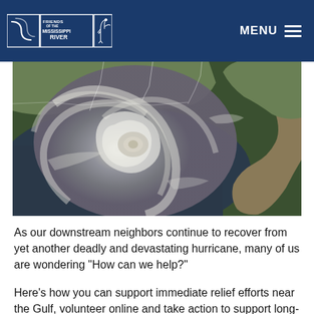FRIENDS OF THE MISSISSIPPI RIVER  MENU
[Figure (photo): Satellite aerial view of a large hurricane over the Gulf of Mexico and southeastern United States coastline, showing a well-defined eye and spiral cloud bands.]
As our downstream neighbors continue to recover from yet another deadly and devastating hurricane, many of us are wondering "How can we help?"
Here's how you can support immediate relief efforts near the Gulf, volunteer online and take action to support long-term resiliency for the Mississippi River and its riverfront and delta communities.